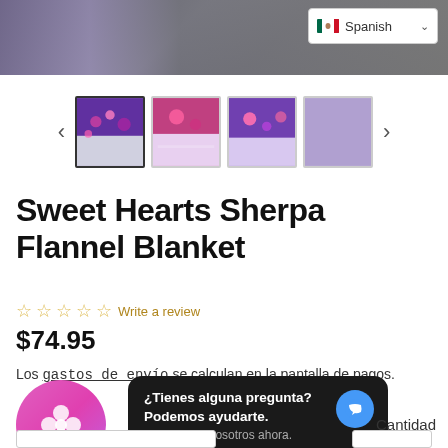[Figure (screenshot): Top portion of a product page showing a gray/purple blanket image with a Spanish language selector in the top right corner showing Mexican flag icon]
[Figure (screenshot): Thumbnail carousel showing 4 product images of the Sweet Hearts Sherpa Flannel Blanket (purple/hearts print, colorful print, another view, and solid lavender) with left and right navigation arrows]
Sweet Hearts Sherpa Flannel Blanket
☆☆☆☆☆ Write a review
$74.95
Los gastos de envío se calculan en la pantalla de pagos.
¿Tienes alguna pregunta? Podemos ayudarte. Chatea con nosotros ahora.
Cantidad